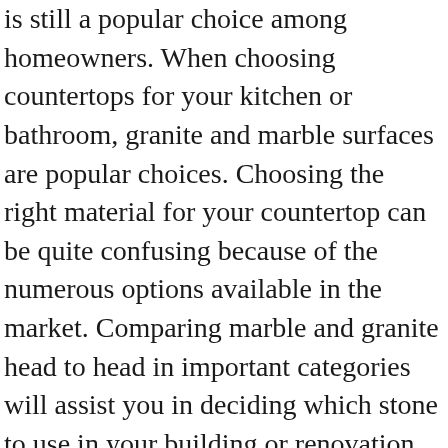is still a popular choice among homeowners. When choosing countertops for your kitchen or bathroom, granite and marble surfaces are popular choices. Choosing the right material for your countertop can be quite confusing because of the numerous options available in the market. Comparing marble and granite head to head in important categories will assist you in deciding which stone to use in your building or renovation project. Granite's mineral composition means it usually has various shades of colour, including red, pink, white, and grey. Quartz as a Countertop. All Rights Reserved. This means that granite is slightly harder than marble, but both offer reasonably good durability. With loads of materials available in the market today, choosing the right material for your vanity countertop is not always the easiest task. Granite vs. Marble Countertops. Compared to granite and marble, quartzite is less porous. Are you wondering how to clean Granite, Marble, or Quartz? Quartz vs. granite comes down to two things: stain resistance and looks. Posted on 2018-03-20 2019-07-26 by admin. In quartz' case, it is made of silicon dioxide. However